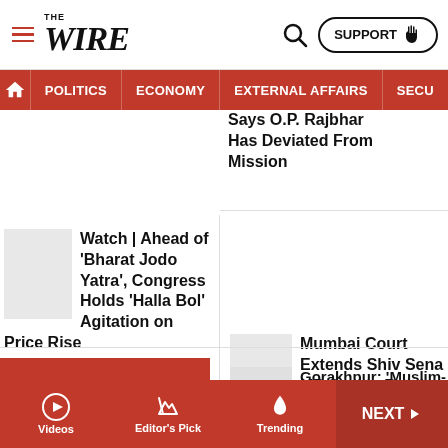THE WIRE | SUPPORT | Search
POLITICS | ECONOMY | EXTERNAL AFFAIRS | SECU...
Says O.P. Rajbhar Has Deviated From Mission
Watch | Ahead of 'Bharat Jodo Yatra', Congress Holds 'Halla Bol' Agitation on Price Rise
Mumbai Court Extends Shiv Sena MP Sanjay Raut's Judicial Custody
Gorakhpur: 'Muslim-Sounding' Wards Renamed...
Videos | Editor's Pick | Trending | NEXT >